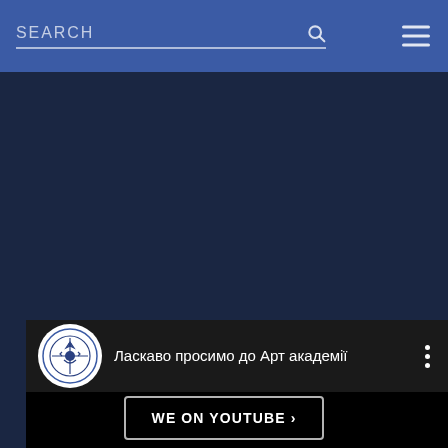SEARCH
[Figure (screenshot): Embedded YouTube video player showing a dark header bar with a circular institutional logo and the title 'Ласкаво просимо до Арт академії' (Welcome to the Art Academy) in white text on a dark background. The video content area is fully black.]
WE ON YOUTUBE ›